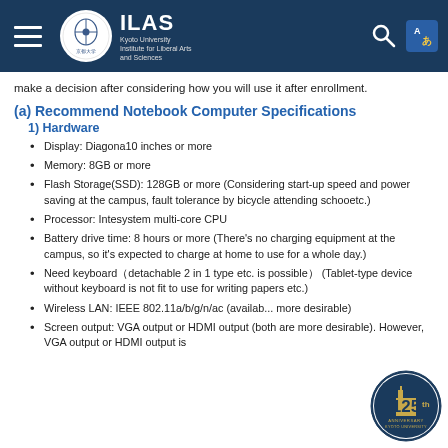ILAS – Kyoto University Institute for Liberal Arts and Sciences
make a decision after considering how you will use it after enrollment.
(a) Recommend Notebook Computer Specifications
1) Hardware
Display: Diagona10 inches or more
Memory: 8GB or more
Flash Storage(SSD): 128GB or more (Considering start-up speed and power saving at the campus, fault tolerance by bicycle attending schooetc.)
Processor: Intesystem multi-core CPU
Battery drive time: 8 hours or more (There's no charging equipment at the campus, so it's expected to charge at home to use for a whole day.)
Need keyboard（detachable 2 in 1 type etc. is possible） (Tablet-type device without keyboard is not fit to use for writing papers etc.)
Wireless LAN: IEEE 802.11a/b/g/n/ac (availab... more desirable)
Screen output: VGA output or HDMI output (both are more desirable). However, VGA output or HDMI output is
[Figure (logo): Kyoto University 125th Anniversary badge — circular badge with gold building icon and '125th ANNIVERSARY KYOTO UNIVERSITY' text on dark blue background]